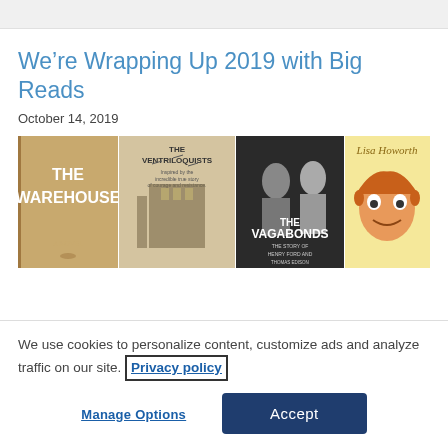We’re Wrapping Up 2019 with Big Reads
October 14, 2019
[Figure (photo): Four book covers side by side: The Warehouse, The Ventriloquists, The Vagabonds (The Story of Henry Ford and Thomas Edison), and a Lisa Howorth book with a cartoon boy illustration.]
We use cookies to personalize content, customize ads and analyze traffic on our site. Privacy policy
Manage Options
Accept